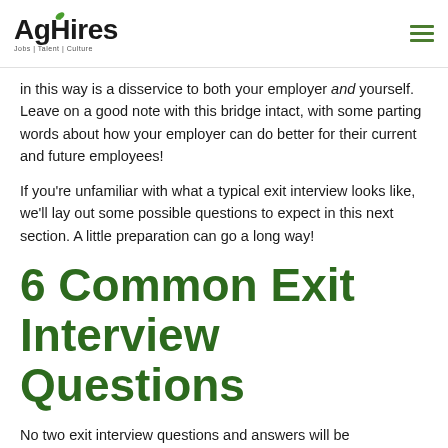AgHires Jobs | Talent | Culture
in this way is a disservice to both your employer and yourself. Leave on a good note with this bridge intact, with some parting words about how your employer can do better for their current and future employees!
If you’re unfamiliar with what a typical exit interview looks like, we’ll lay out some possible questions to expect in this next section. A little preparation can go a long way!
6 Common Exit Interview Questions
No two exit interview questions and answers will be